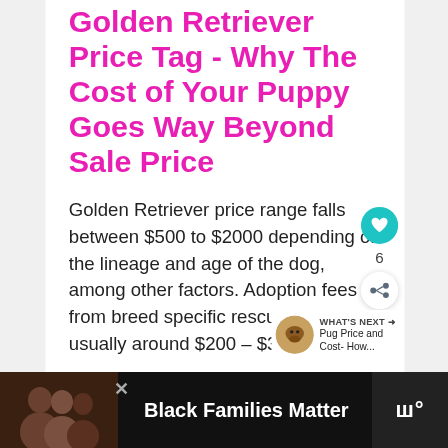Golden Retriever Price Tag - Why The Cost of Your Puppy Goes Way Beyond Sale Price
Golden Retriever price range falls between $500 to $2000 depending on the lineage and age of the dog, among other factors. Adoption fees from breed specific rescues are usually around $200 – $300.
Continue Reading
[Figure (other): Bottom advertisement bar with photo of family, text 'Black Families Matter', close button, and logo]
6
WHAT'S NEXT → Pug Price and Cost- How...